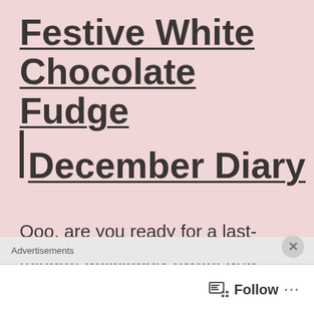Festive White Chocolate Fudge | December Diary
Ooo, are you ready for a last-minute, deliciously sweet and naughty treat for your Christmas table?? I think I may just have the recipe that will top your day off! It's simple.
Advertisements  Follow ...